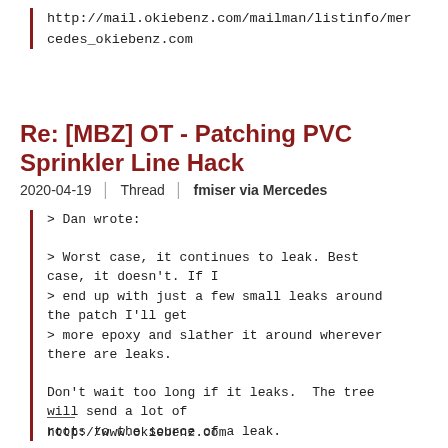http://mail.okiebenz.com/mailman/listinfo/mercedes_okiebenz.com
Re: [MBZ] OT - Patching PVC Sprinkler Line Hack
2020-04-19 | Thread | fmiser via Mercedes
> Dan wrote:

> Worst case, it continues to leak. Best case, it doesn't. If I
> end up with just a few small leaks around the patch I'll get
> more epoxy and slather it around wherever there are leaks.

Don't wait too long if it leaks.  The tree will send a lot of
roots to the source of a leak.
http://www.okiebenz.com